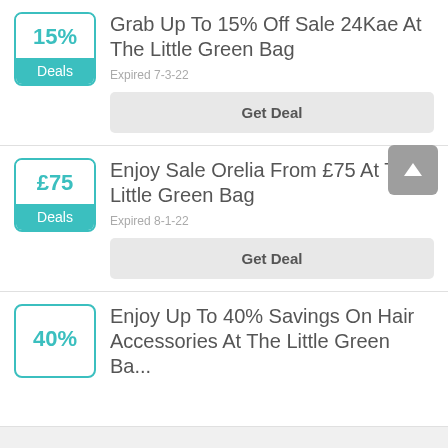[Figure (other): Deal card: 15% off badge with teal border and Deals label, title 'Grab Up To 15% Off Sale 24Kae At The Little Green Bag', Expired 7-3-22, Get Deal button]
[Figure (other): Deal card: £75 badge with teal border and Deals label, title 'Enjoy Sale Orelia From £75 At The Little Green Bag', Expired 8-1-22, Get Deal button, back-to-top arrow button]
[Figure (other): Deal card (partial): 40% badge with teal border, title starting 'Enjoy Up To 40% Savings On Hair Accessories At The Little Green Ba...']